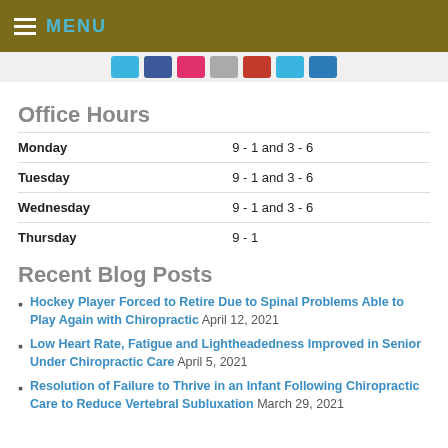MENU
Office Hours
| Day | Hours |
| --- | --- |
| Monday | 9 - 1 and 3 - 6 |
| Tuesday | 9 - 1 and 3 - 6 |
| Wednesday | 9 - 1 and 3 - 6 |
| Thursday | 9 - 1 |
Recent Blog Posts
Hockey Player Forced to Retire Due to Spinal Problems Able to Play Again with Chiropractic April 12, 2021
Low Heart Rate, Fatigue and Lightheadedness Improved in Senior Under Chiropractic Care April 5, 2021
Resolution of Failure to Thrive in an Infant Following Chiropractic Care to Reduce Vertebral Subluxation March 29, 2021